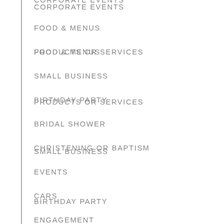CORPORATE EVENTS
FOOD & MENUS
PRODUCTS OR SERVICES
SMALL BUSINESS
BIRTHDAY PARTY
BRIDAL SHOWER
CHRISTENING OR BAPTISM
EVENTS
CARS
ENGAGEMENT